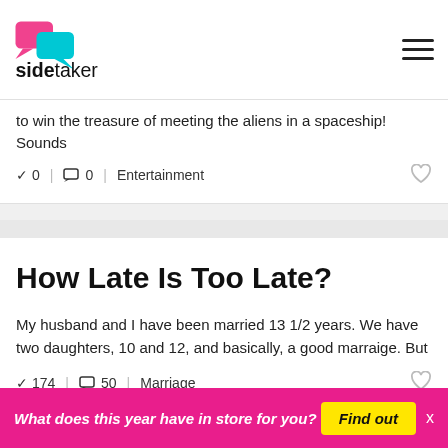sidetaker
to win the treasure of meeting the aliens in a spaceship! Sounds
✓ 0  | ◯ 0  | Entertainment
How Late Is Too Late?
My husband and I have been married 13 1/2 years. We have two daughters, 10 and 12, and basically, a good marraige. But
✓ 174  | ◯ 50  | Marriage
What does this year have in store for you?  Find out